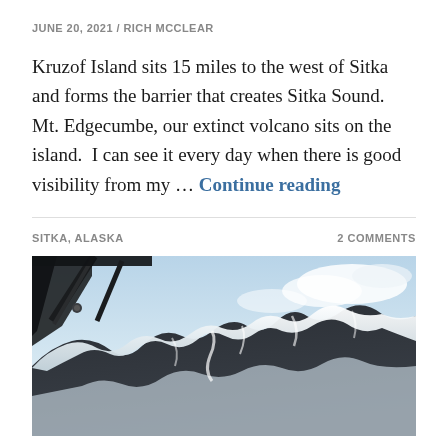JUNE 20, 2021 / RICH MCCLEAR
Kruzof Island sits 15 miles to the west of Sitka and forms the barrier that creates Sitka Sound. Mt. Edgecumbe, our extinct volcano sits on the island. I can see it every day when there is good visibility from my … Continue reading
SITKA, ALASKA
2 COMMENTS
[Figure (photo): Aerial photograph taken from inside a small aircraft showing snow-covered mountain peaks (likely Mt. Edgecumbe or nearby mountains near Sitka, Alaska) with rocky dark ridgelines, snow fields, and a partly cloudy blue sky in the background. The aircraft window frame and wing struts are visible in the upper left corner.]